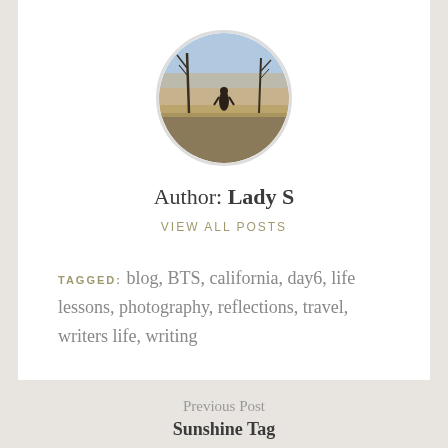[Figure (photo): Circular profile photo of a person in a winter landscape with bare trees and a warm sunset sky]
Author: Lady S
VIEW ALL POSTS
TAGGED: blog, BTS, california, day6, life lessons, photography, reflections, travel, writers life, writing
Previous Post
Sunshine Tag
Next Post